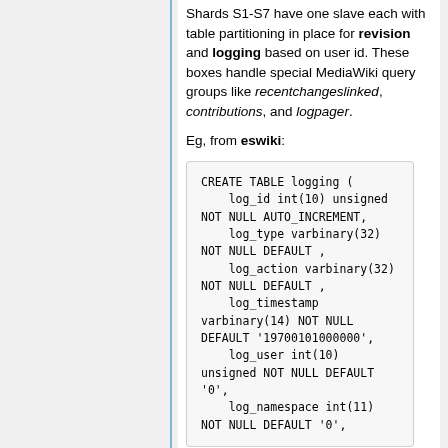Shards S1-S7 have one slave each with table partitioning in place for revision and logging based on user id. These boxes handle special MediaWiki query groups like recentchangeslinked, contributions, and logpager.
Eg, from eswiki:
[Figure (other): Code block showing CREATE TABLE logging SQL statement with columns log_id, log_type, log_action, log_timestamp, log_user, log_namespace and their definitions]